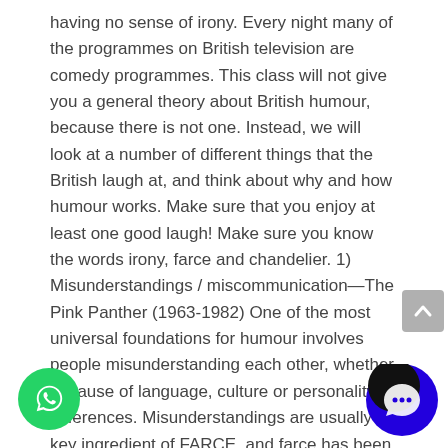having no sense of irony. Every night many of the programmes on British television are comedy programmes. This class will not give you a general theory about British humour, because there is not one. Instead, we will look at a number of different things that the British laugh at, and think about why and how humour works. Make sure that you enjoy at least one good laugh! Make sure you know the words irony, farce and chandelier. 1) Misunderstandings / miscommunication—The Pink Panther (1963-1982) One of the most universal foundations for humour involves people misunderstanding each other, whether because of language, culture or personality differences. Misunderstandings are usually a key ingredient of FARCE, and farce has been a central part of British comedy for hundreds of years. Between 1963 and 1982, six Pink Panther films were made with the famous British comedian, Peter Sellers (1925-80), playing the central role of the French detective